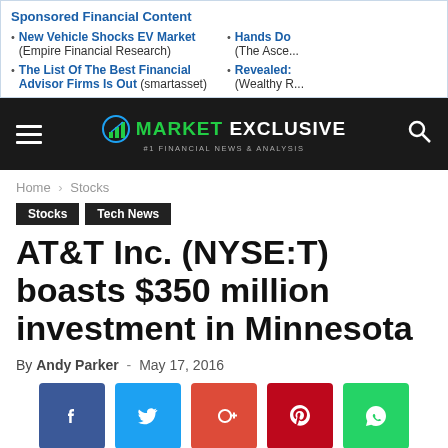Sponsored Financial Content
New Vehicle Shocks EV Market (Empire Financial Research)
The List Of The Best Financial Advisor Firms Is Out (smartasset)
Hands Do... (The Asce...)
Revealed:... (Wealthy R...)
[Figure (logo): Market Exclusive logo with green bar chart icon and text '#1 Financial News & Analysis']
Home › Stocks
Stocks  Tech News
AT&T Inc. (NYSE:T) boasts $350 million investment in Minnesota
By Andy Parker - May 17, 2016
[Figure (infographic): Social share buttons: Facebook (blue), Twitter (cyan), Google+ (orange-red), Pinterest (red), WhatsApp (green)]
[Figure (photo): Dark background image at bottom of page, partially visible]